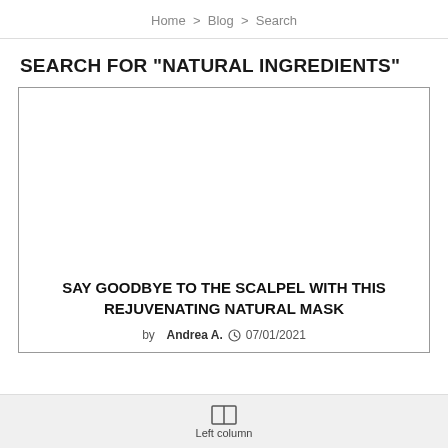Home > Blog > Search
SEARCH FOR "NATURAL INGREDIENTS"
[Figure (photo): Blank white image placeholder inside an article card with a gray border]
SAY GOODBYE TO THE SCALPEL WITH THIS REJUVENATING NATURAL MASK
by Andrea A.  07/01/2021
Left column